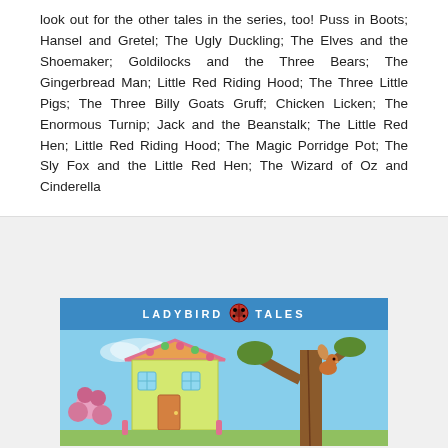look out for the other tales in the series, too! Puss in Boots; Hansel and Gretel; The Ugly Duckling; The Elves and the Shoemaker; Goldilocks and the Three Bears; The Gingerbread Man; Little Red Riding Hood; The Three Little Pigs; The Three Billy Goats Gruff; Chicken Licken; The Enormous Turnip; Jack and the Beanstalk; The Little Red Hen; Little Red Riding Hood; The Magic Porridge Pot; The Sly Fox and the Little Red Hen; The Wizard of Oz and Cinderella
[Figure (illustration): Ladybird Tales book cover showing a colorful illustrated gingerbread house with pink candy decorations and a yellow triangular roof, set against a blue sky background, with a squirrel on a brown tree trunk on the right side. The blue header bar reads 'LADYBIRD TALES' with a ladybird logo in the center.]